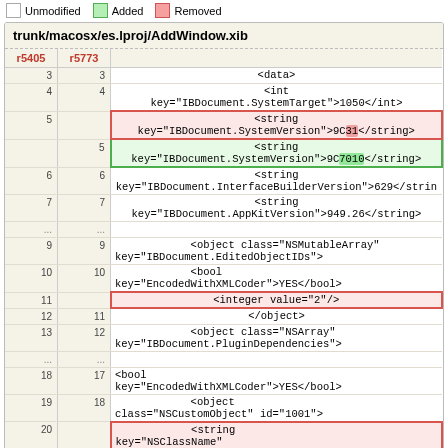Unmodified  Added  Removed
trunk/macosx/es.lproj/AddWindow.xib
| r5405 | r5773 |  |
| --- | --- | --- |
| 3 | 3 | <data> |
| 4 | 4 | <int key="IBDocument.SystemTarget">1050</int> |
| 5 |  | <string key="IBDocument.SystemVersion">9C31</string> |
|  | 5 | <string key="IBDocument.SystemVersion">9C7010</string> |
| 6 | 6 | <string key="IBDocument.InterfaceBuilderVersion">629</strin |
| 7 | 7 | <string key="IBDocument.AppKitVersion">949.26</string> |
| ... | ... |  |
| 9 | 9 | <object class="NSMutableArray" key="IBDocument.EditedObjectIDs"> |
| 10 | 10 | <bool key="EncodedWithXMLCoder">YES</bool> |
| 11 |  | <integer value="2"/> |
| 12 | 11 | </object> |
| 13 | 12 | <object class="NSArray" key="IBDocument.PluginDependencies"> |
| ... | ... |  |
| 18 | 17 | <bool key="EncodedWithXMLCoder">YES</bool> |
| 19 | 18 | <object class="NSCustomObject" id="1001"> |
| 20 |  | <string key="NSClassName" id="624873901">AddWindowController</string> |
|  | 19 | <string |